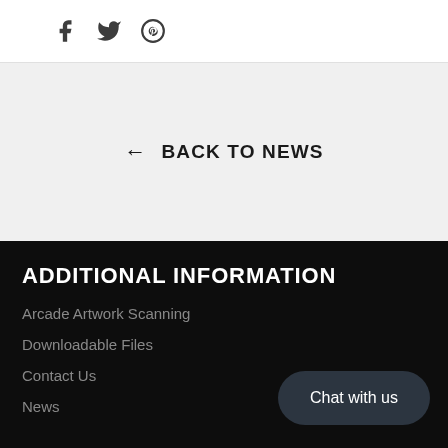[Figure (other): Social media icons: Facebook (f), Twitter (bird), Pinterest (P circle)]
← BACK TO NEWS
ADDITIONAL INFORMATION
Arcade Artwork Scanning
Downloadable Files
Contact Us
News
Chat with us